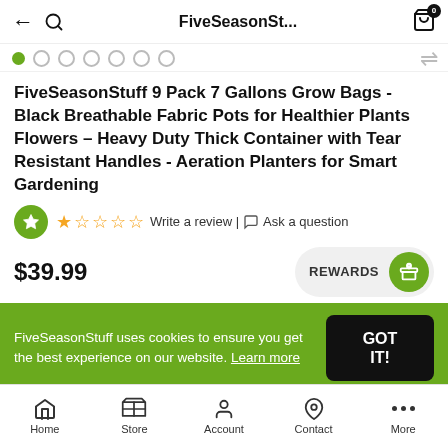FiveSeasonSt...
[Figure (screenshot): Carousel dot indicators with 7 dots, first one filled green]
FiveSeasonStuff 9 Pack 7 Gallons Grow Bags - Black Breathable Fabric Pots for Healthier Plants Flowers – Heavy Duty Thick Container with Tear Resistant Handles - Aeration Planters for Smart Gardening
Write a review | Ask a question
$39.99
REWARDS
FiveSeasonStuff uses cookies to ensure you get the best experience on our website. Learn more
GOT IT!
Home  Store  Account  Contact  More